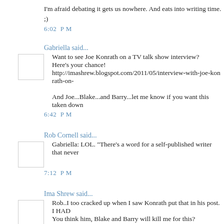I'm afraid debating it gets us nowhere. And eats into writing time. ;)
6:02 PM
Gabriella said...
Want to see Joe Konrath on a TV talk show interview?
Here's your chance!
http://imashrew.blogspot.com/2011/05/interview-with-joe-konrath-on-

And Joe...Blake...and Barry...let me know if you want this taken down
6:42 PM
Rob Cornell said...
Gabriella: LOL. "There's a word for a self-published writer that never
7:12 PM
Ima Shrew said...
Rob..I too cracked up when I saw Konrath put that in his post. I HAD
You think him, Blake and Barry will kill me for this?
7:17 PM